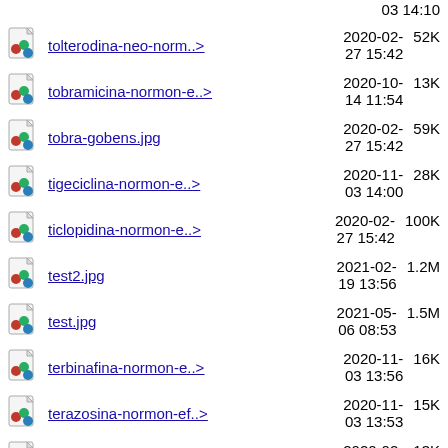03 14:10 (partial top row)
tolterodina-neo-norm..> 2020-02-27 15:42 52K
tobramicina-normon-e..> 2020-10-14 11:54 13K
tobra-gobens.jpg 2020-02-27 15:42 59K
tigeciclina-normon-e..> 2020-11-03 14:00 28K
ticlopidina-normon-e..> 2020-02-27 15:42 100K
test2.jpg 2021-02-19 13:56 1.2M
test.jpg 2021-05-06 08:53 1.5M
terbinafina-normon-e..> 2020-11-03 13:56 16K
terazosina-normon-ef..> 2020-11-03 13:53 15K
telmisartan-normon-e..> 2020-02-27 15:42 13K
telmisartan-hidroclo..> 2020-02-27 15:42 13K